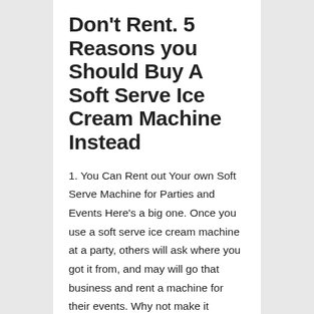Don't Rent. 5 Reasons you Should Buy A Soft Serve Ice Cream Machine Instead
1. You Can Rent out Your own Soft Serve Machine for Parties and Events Here's a big one. Once you use a soft serve ice cream machine at a party, others will ask where you got it from, and may will go that business and rent a machine for their events. Why not make it